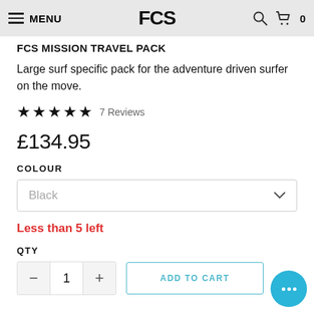MENU | FCS | 0
FCS MISSION TRAVEL PACK
Large surf specific pack for the adventure driven surfer on the move.
★★★★★ 7 Reviews
£134.95
COLOUR
Black
Less than 5 left
QTY
1
ADD TO CART